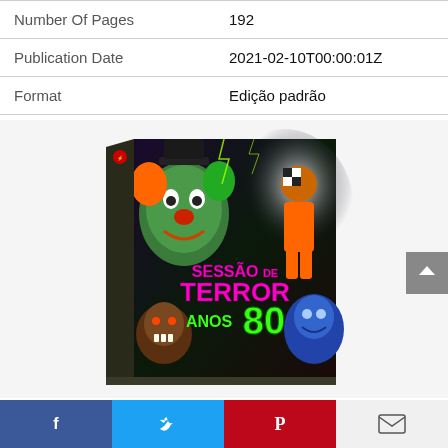| Field | Value |
| --- | --- |
| Number Of Pages | 192 |
| Publication Date | 2021-02-10T00:00:01Z |
| Format | Edição padrão |
[Figure (photo): 3D book cover of 'Sessão de Terror Anos 80' featuring horror imagery including clowns and monsters, with pink and green neon title text]
Facebook | Twitter | Pinterest | Email